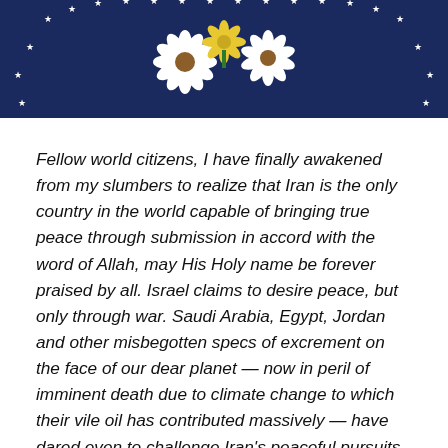[Figure (photo): Partial view of what appears to be the White House or US government seal on a dark navy blue background, showing white stars arranged in a circle and white floral/daisy elements in the center, with yellow accents.]
Fellow world citizens, I have finally awakened from my slumbers to realize that Iran is the only country in the world capable of bringing true peace through submission in accord with the word of Allah, may His Holy name be forever praised by all. Israel claims to desire peace, but only through war. Saudi Arabia, Egypt, Jordan and other misbegotten specs of excrement on the face of our dear planet — now in peril of imminent death due to climate change to which their vile oil has contributed massively — have dared even to challenge Iran's peaceful pursuits of peace throughout the Middle East in Iraq, Syria, Yemon and elsewhere.